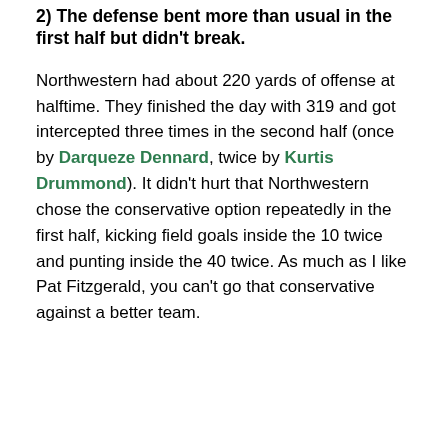2) The defense bent more than usual in the first half but didn't break.
Northwestern had about 220 yards of offense at halftime. They finished the day with 319 and got intercepted three times in the second half (once by Darqueze Dennard, twice by Kurtis Drummond). It didn't hurt that Northwestern chose the conservative option repeatedly in the first half, kicking field goals inside the 10 twice and punting inside the 40 twice. As much as I like Pat Fitzgerald, you can't go that conservative against a better team.